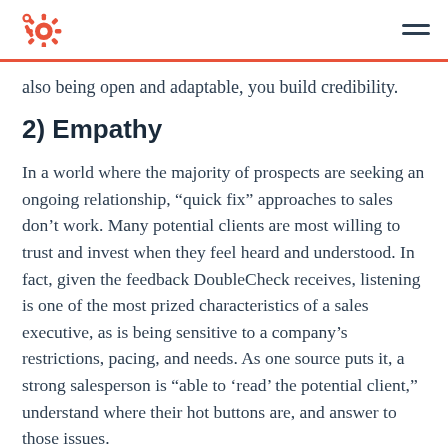HubSpot logo and navigation menu
also being open and adaptable, you build credibility.
2) Empathy
In a world where the majority of prospects are seeking an ongoing relationship, “quick fix” approaches to sales don’t work. Many potential clients are most willing to trust and invest when they feel heard and understood. In fact, given the feedback DoubleCheck receives, listening is one of the most prized characteristics of a sales executive, as is being sensitive to a company’s restrictions, pacing, and needs. As one source puts it, a strong salesperson is “able to ‘read’ the potential client,” understand where their hot buttons are, and answer to those issues.